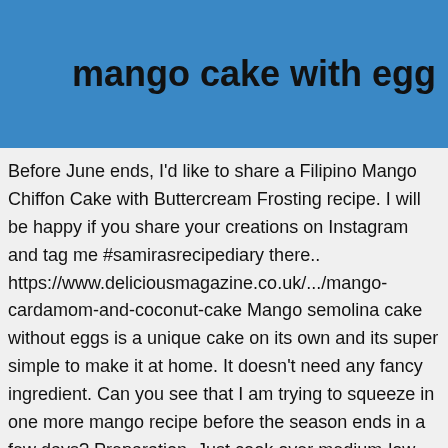mango cake with egg
Before June ends, I’d like to share a Filipino Mango Chiffon Cake with Buttercream Frosting recipe. I will be happy if you share your creations on Instagram and tag me #samirasrecipediary there.. https://www.deliciousmagazine.co.uk/.../mango-cardamom-and-coconut-cake Mango semolina cake without eggs is a unique cake on its own and its super simple to make it at home. It doesn’t need any fancy ingredient. Can you see that I am trying to squeeze in one more mango recipe before the season ends in a few days? Preparation. Just cook over medium-low heat with constant stirring until color turns translucent and mixture becomes very thick. You must try this combination! Add banana puree, then remaining powders. You will end up with 2 layers. Mango Filling. Most probably you will have all the ingredients at home. How to make mango cake light and fluffy. Separate the egg